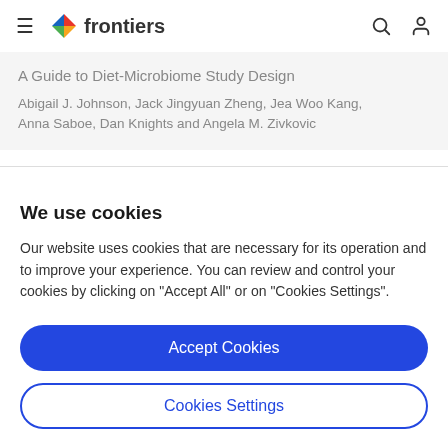≡ frontiers
A Guide to Diet-Microbiome Study Design
Abigail J. Johnson, Jack Jingyuan Zheng, Jea Woo Kang, Anna Saboe, Dan Knights and Angela M. Zivkovic
We use cookies
Our website uses cookies that are necessary for its operation and to improve your experience. You can review and control your cookies by clicking on "Accept All" or on "Cookies Settings".
Accept Cookies
Cookies Settings